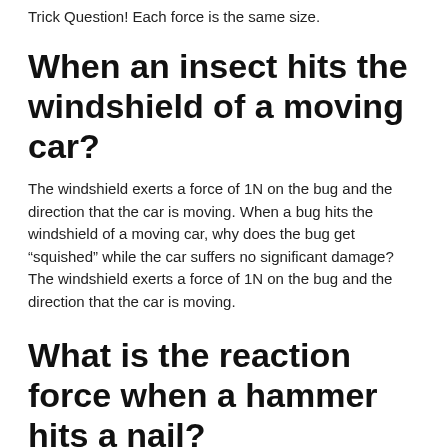Trick Question! Each force is the same size.
When an insect hits the windshield of a moving car?
The windshield exerts a force of 1N on the bug and the direction that the car is moving. When a bug hits the windshield of a moving car, why does the bug get “squished” while the car suffers no significant damage? The windshield exerts a force of 1N on the bug and the direction that the car is moving.
What is the reaction force when a hammer hits a nail?
The reaction force will be equal to the force